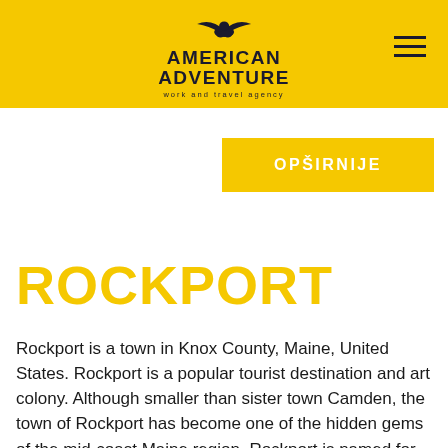AMERICAN ADVENTURE work and travel agency
OPŠIRNIJE
ROCKPORT
Rockport is a town in Knox County, Maine, United States. Rockport is a popular tourist destination and art colony. Although smaller than sister town Camden, the town of Rockport has become one of the hidden gems of the mid-coast Maine region. Rockport is named for its rocky terrain and its prominent lime stone industry.